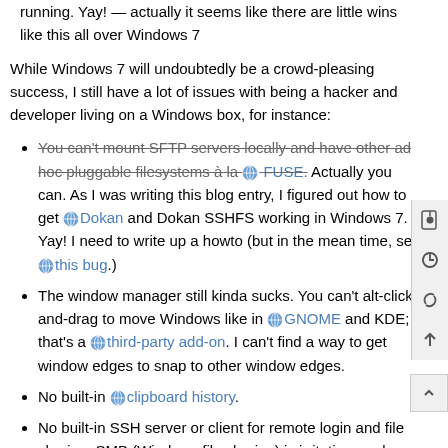running. Yay! — actually it seems like there are little wins like this all over Windows 7
While Windows 7 will undoubtedly be a crowd-pleasing success, I still have a lot of issues with being a hacker and developer living on a Windows box, for instance:
You can't mount SFTP servers locally and have other ad hoc pluggable filesystems à la FUSE. Actually you can. As I was writing this blog entry, I figured out how to get Dokan and Dokan SSHFS working in Windows 7. Yay! I need to write up a howto (but in the mean time, see this bug.)
The window manager still kinda sucks. You can't alt-click-and-drag to move Windows like in GNOME and KDE; that's a third-party add-on. I can't find a way to get window edges to snap to other window edges.
No built-in clipboard history.
No built-in SSH server or client for remote login and file sharing. SMB (Windows file sharing) is irritating, and other operating systems don't play well with it.
And there are some issues aren't particular to Windows 7: